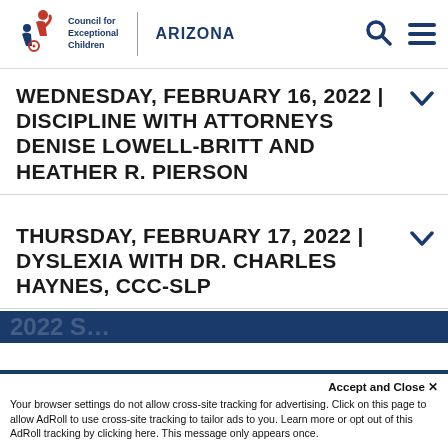Council for Exceptional Children | ARIZONA
WEDNESDAY, FEBRUARY 16, 2022 | DISCIPLINE WITH ATTORNEYS DENISE LOWELL-BRITT AND HEATHER R. PIERSON
THURSDAY, FEBRUARY 17, 2022 | DYSLEXIA WITH DR. CHARLES HAYNES, CCC-SLP
Accept and Close ✕
Your browser settings do not allow cross-site tracking for advertising. Click on this page to allow AdRoll to use cross-site tracking to tailor ads to you. Learn more or opt out of this AdRoll tracking by clicking here. This message only appears once.